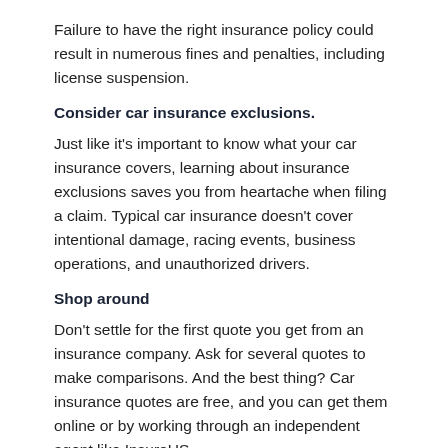Failure to have the right insurance policy could result in numerous fines and penalties, including license suspension.
Consider car insurance exclusions.
Just like it's important to know what your car insurance covers, learning about insurance exclusions saves you from heartache when filing a claim. Typical car insurance doesn't cover intentional damage, racing events, business operations, and unauthorized drivers.
Shop around
Don't settle for the first quote you get from an insurance company. Ask for several quotes to make comparisons. And the best thing? Car insurance quotes are free, and you can get them online or by working through an independent agent like InsureUS.
Choose a reliable insurance agent.